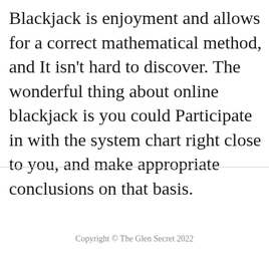Blackjack is enjoyment and allows for a correct mathematical method, and It isn't hard to discover. The wonderful thing about online blackjack is you could Participate in with the system chart right close to you, and make appropriate conclusions on that basis.
Copyright © The Glen Secret 2022